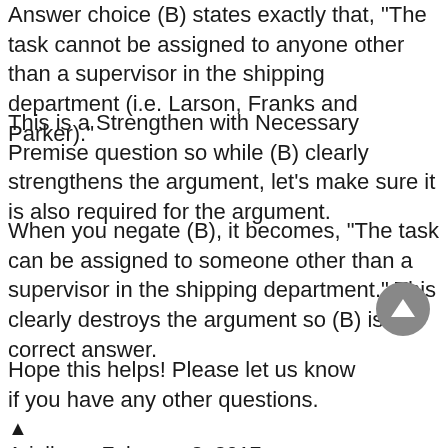Answer choice (B) states exactly that, "The task cannot be assigned to anyone other than a supervisor in the shipping department (i.e. Larson, Franks and Parker)."
This is a Strengthen with Necessary Premise question so while (B) clearly strengthens the argument, let's make sure it is also required for the argument.
When you negate (B), it becomes, "The task can be assigned to someone other than a supervisor in the shipping department." This clearly destroys the argument so (B) is the correct answer.
Hope this helps! Please let us know if you have any other questions.
Ariella on February 8, 2017